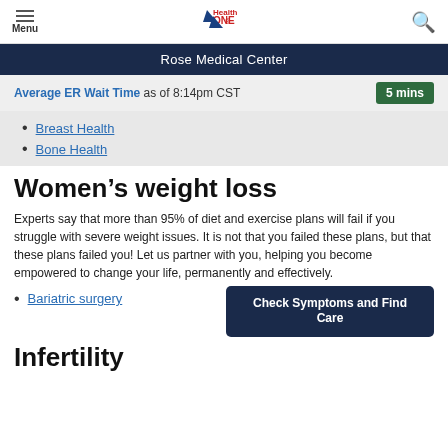Menu | Health ONE logo | Search
Rose Medical Center
Average ER Wait Time as of 8:14pm CST  5 mins
Breast Health
Bone Health
Women's weight loss
Experts say that more than 95% of diet and exercise plans will fail if you struggle with severe weight issues. It is not that you failed these plans, but that these plans failed you! Let us partner with you, helping you become empowered to change your life, permanently and effectively.
Bariatric surgery
Check Symptoms and Find Care
Infertility